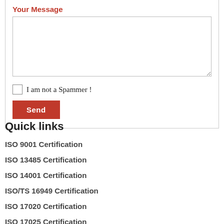Your Message
[Figure (screenshot): A web contact form showing a textarea for 'Your Message', a checkbox labeled 'I am not a Spammer!', and a red Send button]
Quick links
ISO 9001 Certification
ISO 13485 Certification
ISO 14001 Certification
ISO/TS 16949 Certification
ISO 17020 Certification
ISO 17025 Certification